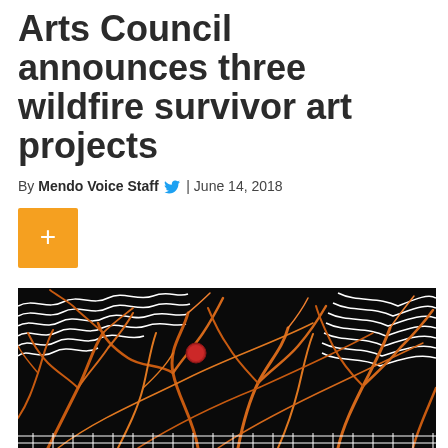Arts Council announces three wildfire survivor art projects
By Mendo Voice Staff | June 14, 2018
[Figure (illustration): A woodblock print-style artwork depicting intertwining orange and black tree branches and roots against a dark background, with white wave-like patterns at the top and a small red circle (possibly a figure or sun) among the branches.]